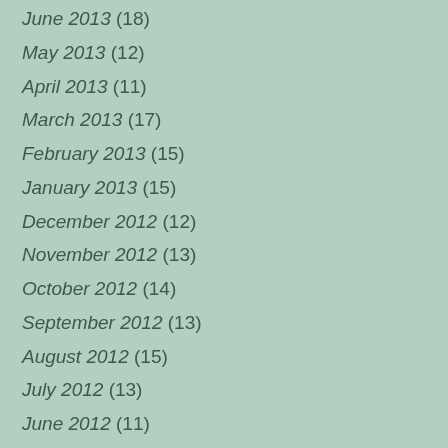June 2013 (18)
May 2013 (12)
April 2013 (11)
March 2013 (17)
February 2013 (15)
January 2013 (15)
December 2012 (12)
November 2012 (13)
October 2012 (14)
September 2012 (13)
August 2012 (15)
July 2012 (13)
June 2012 (11)
May 2012 (9)
April 2012 (16)
March 2012 (19)
February 2012 (16)